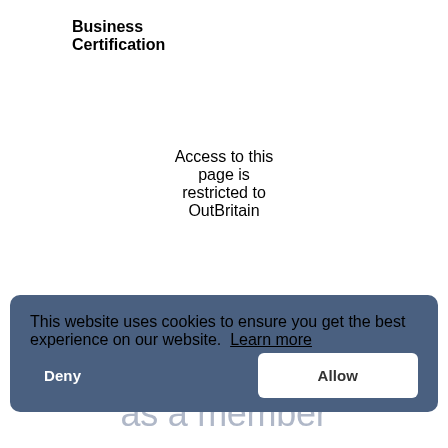Business Certification
Access to this page is restricted to OutBritain
members
Please sign up as a member
This website uses cookies to ensure you get the best experience on our website. Learn more
Deny
Allow